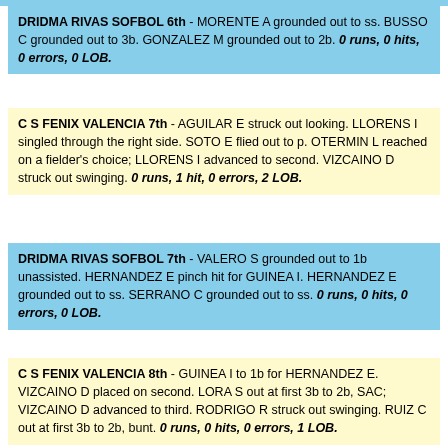DRIDMA RIVAS SOFBOL 6th - MORENTE A grounded out to ss. BUSSO C grounded out to 3b. GONZALEZ M grounded out to 2b. 0 runs, 0 hits, 0 errors, 0 LOB.
C S FENIX VALENCIA 7th - AGUILAR E struck out looking. LLORENS I singled through the right side. SOTO E flied out to p. OTERMIN L reached on a fielder's choice; LLORENS I advanced to second. VIZCAINO D struck out swinging. 0 runs, 1 hit, 0 errors, 2 LOB.
DRIDMA RIVAS SOFBOL 7th - VALERO S grounded out to 1b unassisted. HERNANDEZ E pinch hit for GUINEA I. HERNANDEZ E grounded out to ss. SERRANO C grounded out to ss. 0 runs, 0 hits, 0 errors, 0 LOB.
C S FENIX VALENCIA 8th - GUINEA I to 1b for HERNANDEZ E. VIZCAINO D placed on second. LORA S out at first 3b to 2b, SAC; VIZCAINO D advanced to third. RODRIGO R struck out swinging. RUIZ C out at first 3b to 2b, bunt. 0 runs, 0 hits, 0 errors, 1 LOB.
DRIDMA RIVAS SOFBOL 8th - SERRANO C placed on second. JIMENEZ I struck out looking. ALCANTARA A struck out swinging. MORENO A intentionally walked. MORENO A advanced to second on a passed ball; SERRANO C advanced to third. MORENTE A flied out